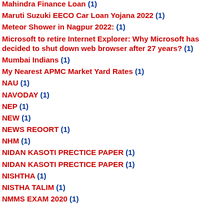Mahindra Finance Loan (1)
Maruti Suzuki EECO Car Loan Yojana 2022 (1)
Meteor Shower in Nagpur 2022: (1)
Microsoft to retire Internet Explorer: Why Microsoft has decided to shut down web browser after 27 years? (1)
Mumbai Indians (1)
My Nearest APMC Market Yard Rates (1)
NAU (1)
NAVODAY (1)
NEP (1)
NEW (1)
NEWS REOORT (1)
NHM (1)
NIDAN KASOTI PRECTICE PAPER (1)
NIDAN KASOTI PRECTICE PAPER (1)
NISHTHA (1)
NISTHA TALIM (1)
NMMS EXAM 2020 (1)